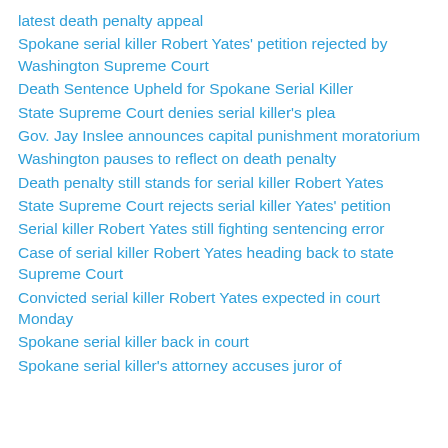latest death penalty appeal
Spokane serial killer Robert Yates' petition rejected by Washington Supreme Court
Death Sentence Upheld for Spokane Serial Killer
State Supreme Court denies serial killer's plea
Gov. Jay Inslee announces capital punishment moratorium
Washington pauses to reflect on death penalty
Death penalty still stands for serial killer Robert Yates
State Supreme Court rejects serial killer Yates' petition
Serial killer Robert Yates still fighting sentencing error
Case of serial killer Robert Yates heading back to state Supreme Court
Convicted serial killer Robert Yates expected in court Monday
Spokane serial killer back in court
Spokane serial killer's attorney accuses juror of